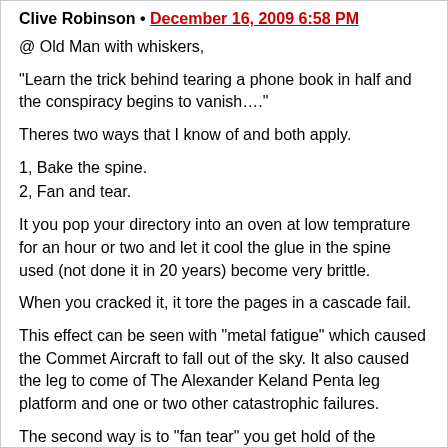Clive Robinson • December 16, 2009 6:58 PM
@ Old Man with whiskers,
“Learn the trick behind tearing a phone book in half and the conspiracy begins to vanish….”
Theres two ways that I know of and both apply.
1, Bake the spine.
2, Fan and tear.
It you pop your directory into an oven at low temprature for an hour or two and let it cool the glue in the spine used (not done it in 20 years) become very brittle.
When you cracked it, it tore the pages in a cascade fail.
This effect can be seen with “metal fatigue” which caused the Commet Aircraft to fall out of the sky. It also caused the leg to come of The Alexander Keland Penta leg platform and one or two other catastrophic failures.
The second way is to “fan tear” you get hold of the directory and “roll bend” it so the pages are faned out like the edge of